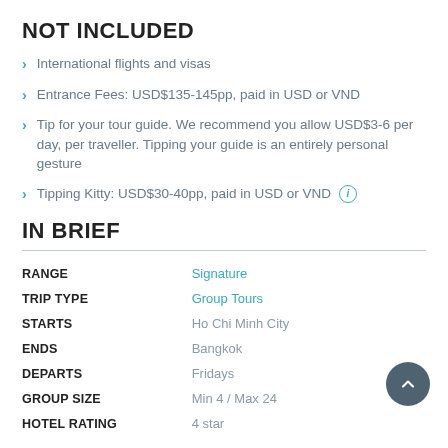NOT INCLUDED
International flights and visas
Entrance Fees: USD$135-145pp, paid in USD or VND
Tip for your tour guide. We recommend you allow USD$3-6 per day, per traveller. Tipping your guide is an entirely personal gesture
Tipping Kitty: USD$30-40pp, paid in USD or VND
IN BRIEF
|  |  |
| --- | --- |
| RANGE | Signature |
| TRIP TYPE | Group Tours |
| STARTS | Ho Chi Minh City |
| ENDS | Bangkok |
| DEPARTS | Fridays |
| GROUP SIZE | Min 4 / Max 24 |
| HOTEL RATING | 4 star |